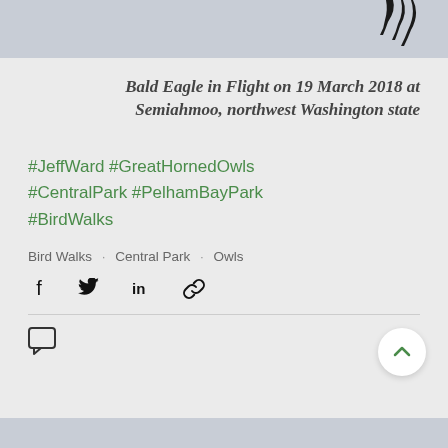[Figure (photo): Partial bald eagle silhouette with feathers visible against a light blue-gray background bar at top of page]
Bald Eagle in Flight on 19 March 2018 at Semiahmoo, northwest Washington state
#JeffWard #GreatHornedOwls #CentralPark #PelhamBayPark #BirdWalks
Bird Walks · Central Park · Owls
[Figure (infographic): Social share icons: Facebook, Twitter, LinkedIn, Link]
[Figure (infographic): Comment/speech bubble icon]
[Figure (infographic): Back to top chevron button (circular white button with green up-arrow)]